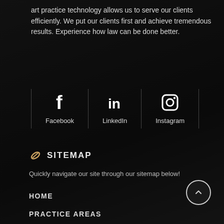art practice technology allows us to serve our clients efficiently. We put our clients first and achieve tremendous results. Experience how law can be done better.
[Figure (infographic): Social media icons row: Facebook (f icon), LinkedIn (in icon), Instagram (camera icon), each with their name below and separated by vertical borders]
SITEMAP
Quickly navigate our site through our sitemap below!
HOME
PRACTICE AREAS
OUR ATTORNEYS
CONTACT US
CASE EVALUATION